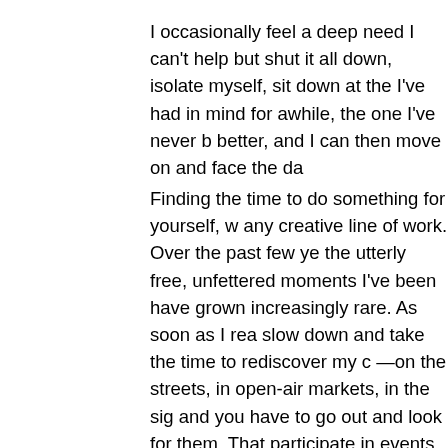I occasionally feel a deep need I can't help but shut it all down, isolate myself, sit down at the I've had in mind for awhile, the one I've never b better, and I can then move on and face the da
Finding the time to do something for yourself, w any creative line of work. Over the past few ye the utterly free, unfettered moments I've been have grown increasingly rare. As soon as I rea slow down and take the time to rediscover my c —on the streets, in open-air markets, in the sig and you have to go out and look for them. That participate in events that, for instance, call on an automatic trigger to do new research, some best you can hope for is to find new forms of le various styles, since writing is, by its very natu